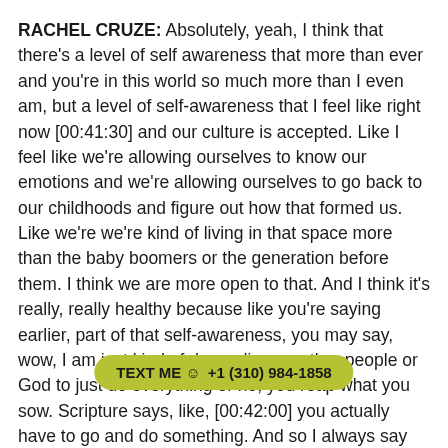RACHEL CRUZE: Absolutely, yeah, I think that there's a level of self awareness that more than ever and you're in this world so much more than I even am, but a level of self-awareness that I feel like right now [00:41:30] and our culture is accepted. Like I feel like we're allowing ourselves to know our emotions and we're allowing ourselves to go back to our childhoods and figure out how that formed us. Like we're we're kind of living in that space more than the baby boomers or the generation before them. I think we are more open to that. And I think it's really, really healthy because like you're saying earlier, part of that self-awareness, you may say, wow, I am just kind of depending on other people or God to just do everything or no, you reap what you sow. Scripture says, like, [00:42:00] you actually have to go and do something. And so I always say you work like it depends on you like it depends on God. So there's like there's a there's two parts of that equation that are very real. And so having the self-
TEXT ME ☺ +1 (310) 984-1858